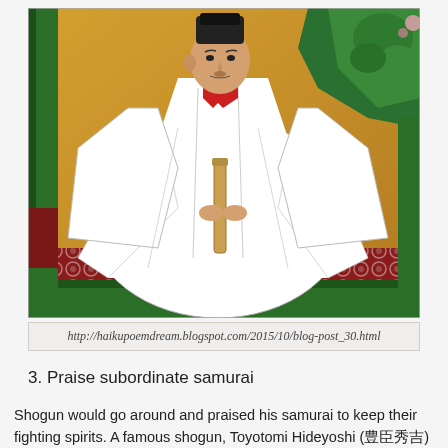[Figure (illustration): Traditional Japanese painting depicting a nobleman or shogun (likely Toyotomi Hideyoshi) seated in formal white court robes (sokutai), holding a scepter, on an ornate patterned fabric, with gold background and decorative green elements.]
http://haikupoemdream.blogspot.com/2015/10/blog-post_30.html
3. Praise subordinate samurai
Shogun would go around and praised his samurai to keep their fighting spirits. A famous shogun, Toyotomi Hideyoshi (豊臣秀吉) took his wife when